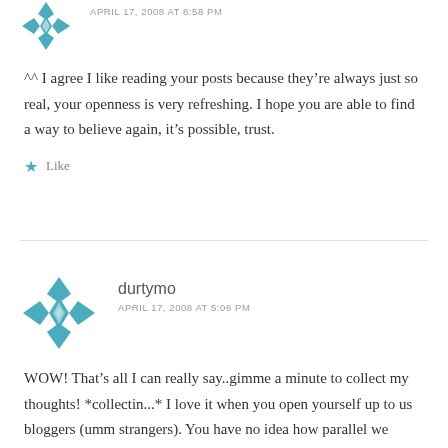APRIL 17, 2008 AT 8:58 PM
^^ I agree I like reading your posts because they’re always just so real, your openness is very refreshing. I hope you are able to find a way to believe again, it’s possible, trust.
Like
[Figure (logo): Teal geometric quilt-pattern avatar for durtymo]
durtymo
APRIL 17, 2008 AT 5:06 PM
WOW! That’s all I can really say..gimme a minute to collect my thoughts! *collectin...* I love it when you open yourself up to us bloggers (umm strangers). You have no idea how parallel we really are!